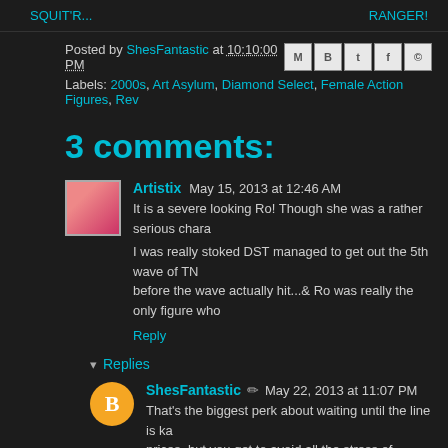SQUIT'R...   RANGER!
Posted by ShesFantastic at 10:10:00 PM
Labels: 2000s, Art Asylum, Diamond Select, Female Action Figures, Rev
3 comments:
Artistix  May 15, 2013 at 12:46 AM
It is a severe looking Ro! Though she was a rather serious chara
I was really stoked DST managed to get out the 5th wave of TN before the wave actually hit...& Ro was really the only figure who
Reply
▾ Replies
ShesFantastic ✏ May 22, 2013 at 11:07 PM
That's the biggest perk about waiting until the line is ka prices, but you get to avoid all the stress of delays and hit the shelves. ... But I can't completely avoid the hunt...